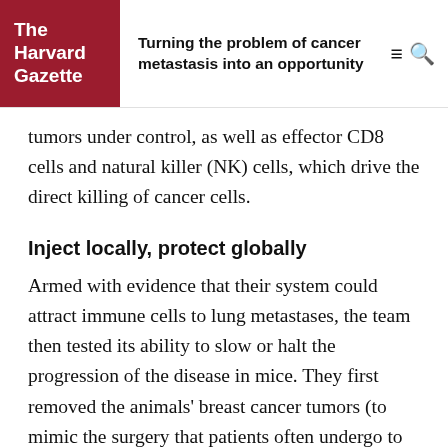The Harvard Gazette — Turning the problem of cancer metastasis into an opportunity
tumors under control, as well as effector CD8 cells and natural killer (NK) cells, which drive the direct killing of cancer cells.
Inject locally, protect globally
Armed with evidence that their system could attract immune cells to lung metastases, the team then tested its ability to slow or halt the progression of the disease in mice. They first removed the animals' breast cancer tumors (to mimic the surgery that patients often undergo to treat their primary tumors), then injected them with either CXCL10 alone, ImmunoBait nanoparticles alone, or EASI.
EASI inhibited the progression of lung metastasis